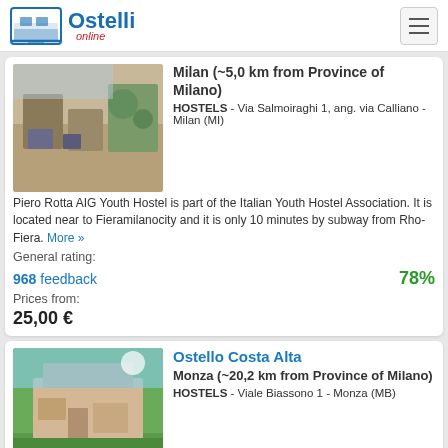Ostelli online
[Figure (photo): Interior of a hostel common area with seating and plants]
Milan (~5,0 km from Province of Milano)
HOSTELS - Via Salmoiraghi 1, ang. via Calliano - Milan (MI)
Piero Rotta AIG Youth Hostel is part of the Italian Youth Hostel Association. It is located near to Fieramilanocity and it is only 10 minutes by subway from Rho-Fiera. More »
General rating:
968 feedback 78%
Prices from:
25,00 €
[Figure (photo): Exterior of Ostello Costa Alta building with lawn]
Ostello Costa Alta
Monza (~20,2 km from Province of Milano)
HOSTELS - Viale Biassono 1 - Monza (MB)
About us The Ostello Costa Alta is managed by Coop. META for more then 15 years Coop.Soc. META is based